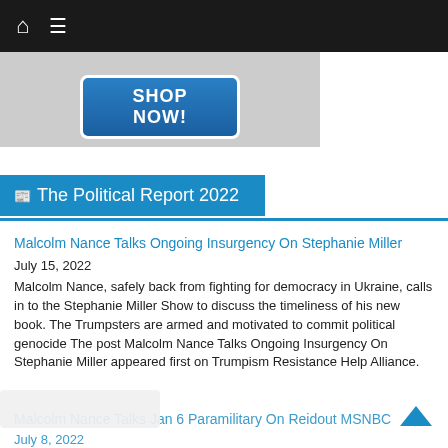Home | Menu navigation bar
[Figure (screenshot): Advertisement banner with blue 'SHOP NOW!' button on grey background]
The Political Report 2022
Malcolm Nance Talks Ongoing Insurgency On Stephanie Miller
July 15, 2022
Malcolm Nance, safely back from fighting for democracy in Ukraine, calls in to the Stephanie Miller Show to discuss the timeliness of his new book. The Trumpsters are armed and motivated to commit political genocide The post Malcolm Nance Talks Ongoing Insurgency On Stephanie Miller appeared first on Trumpism Resistance Help Alliance.
Malcolm Nance Talks Jan 6 Paramilitary On Reidout MSNBC
July 8, 2022